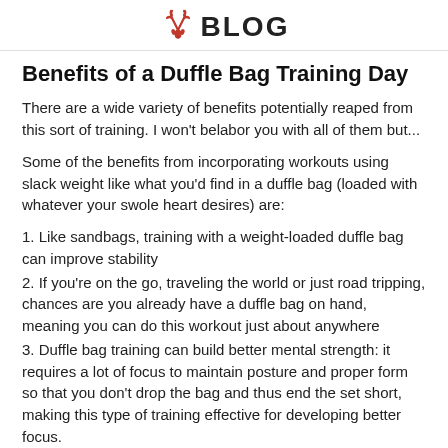BLOG
Benefits of a Duffle Bag Training Day
There are a wide variety of benefits potentially reaped from this sort of training. I won't belabor you with all of them but...
Some of the benefits from incorporating workouts using slack weight like what you'd find in a duffle bag (loaded with whatever your swole heart desires) are:
1. Like sandbags, training with a weight-loaded duffle bag can improve stability
2. If you're on the go, traveling the world or just road tripping, chances are you already have a duffle bag on hand, meaning you can do this workout just about anywhere
3. Duffle bag training can build better mental strength: it requires a lot of focus to maintain posture and proper form so that you don't drop the bag and thus end the set short, making this type of training effective for developing better focus.
Duffle Bag Front Squat 3 x 15